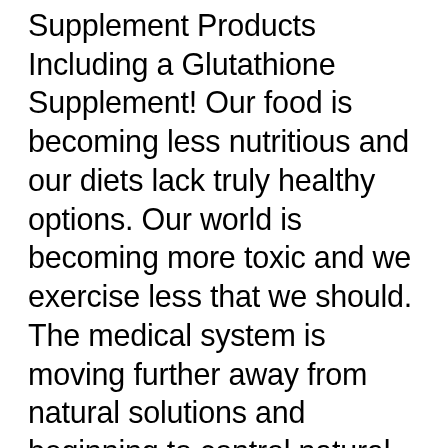Supplement Products Including a Glutathione Supplement! Our food is becoming less nutritious and our diets lack truly healthy options. Our world is becoming more toxic and we exercise less that we should. The medical system is moving further away from natural solutions and beginning to control natural nutrition and supplements that might offer solutions. Individuals frequently live longer but yet have poor quality of life for their final years. Our average life span is even starting to decrease instead of increase! In our modern high tech